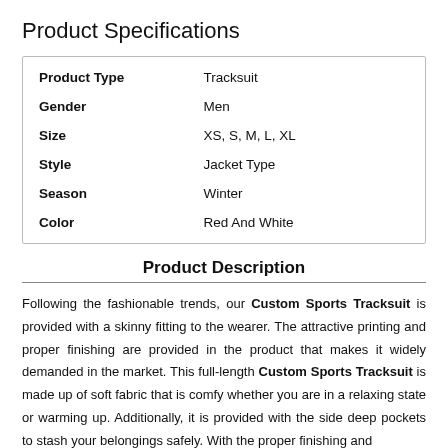Product Specifications
| Product Type | Tracksuit |
| Gender | Men |
| Size | XS, S, M, L, XL |
| Style | Jacket Type |
| Season | Winter |
| Color | Red And White |
Product Description
Following the fashionable trends, our Custom Sports Tracksuit is provided with a skinny fitting to the wearer. The attractive printing and proper finishing are provided in the product that makes it widely demanded in the market. This full-length Custom Sports Tracksuit is made up of soft fabric that is comfy whether you are in a relaxing state or warming up. Additionally, it is provided with the side deep pockets to stash your belongings safely. With the proper finishing and